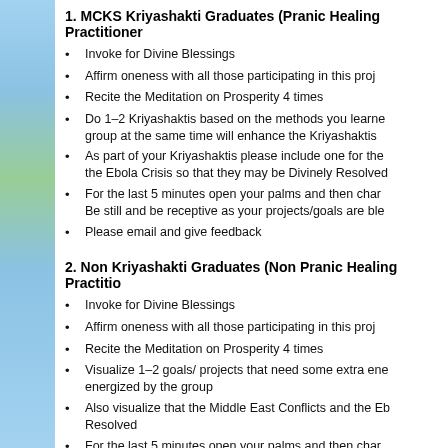1. MCKS Kriyashakti Graduates (Pranic Healing Practitioner
Invoke for Divine Blessings
Affirm oneness with all those participating in this proj
Recite the Meditation on Prosperity 4 times
Do 1–2 Kriyashaktis based on the methods you learned group at the same time will enhance the Kriyashaktis
As part of your Kriyashaktis please include one for the the Ebola Crisis so that they may be Divinely Resolved
For the last 5 minutes open your palms and then char Be still and be receptive as your projects/goals are ble
Please email and give feedback
2. Non Kriyashakti Graduates (Non Pranic Healing Practitio
Invoke for Divine Blessings
Affirm oneness with all those participating in this proj
Recite the Meditation on Prosperity 4 times
Visualize 1–2 goals/ projects that need some extra ene energized by the group
Also visualize that the Middle East Conflicts and the Eb Resolved
For the last 5 minutes open your palms and then char Be still and be receptive as your projects/goals are ble
Please email and give feedback